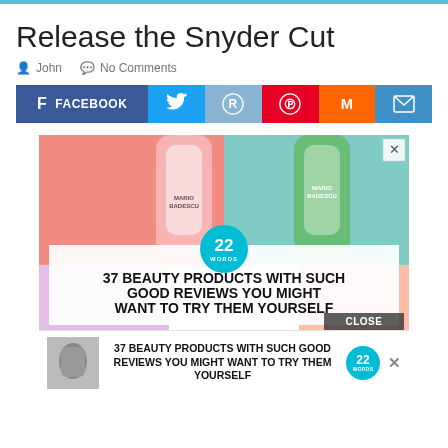Release the Snyder Cut
John   No Comments
[Figure (screenshot): Social sharing buttons: Facebook, Twitter, Reddit, Pinterest, Mix, Email]
[Figure (screenshot): Advertisement: 37 Beauty Products With Such Good Reviews You Might Want To Try Them Yourself, with Mario Badescu product bottles, 22 Words badge, and CLOSE button]
[Figure (screenshot): Bottom ad strip: thumbnail image, text '37 Beauty Products With Such Good Reviews You Might Want To Try Them Yourself', 22 Words badge, X close]